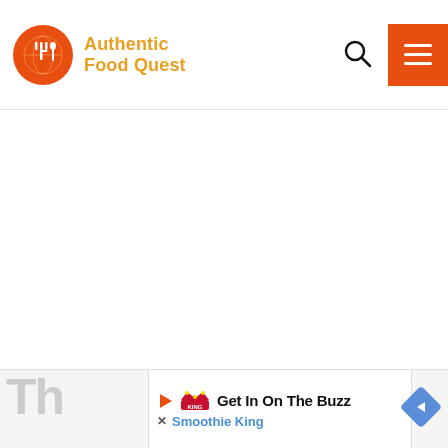[Figure (logo): Authentic Food Quest logo: orange circle with a globe and fork icon, orange text reading 'Authentic Food Quest']
[Figure (screenshot): Website header with search icon and orange hamburger menu button, large white content area]
[Figure (screenshot): Bottom advertisement bar: partial large grey letters 'Th', Smoothie King ad with play icon, 'Get In On The Buzz' headline, 'Smoothie King' in blue, navigation arrow diamond icon]